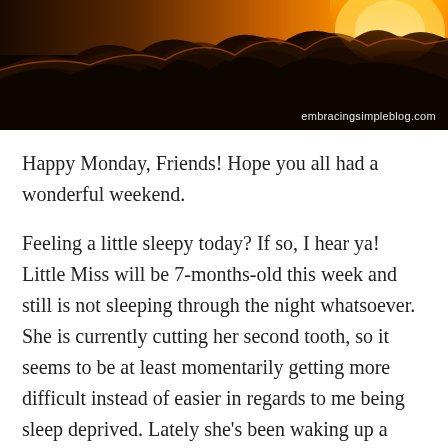[Figure (photo): Dramatic sunset photo with orange and golden sky behind dark storm clouds, taken from below. Watermark reads 'embracingsimpleblog.com' in bottom right corner.]
Happy Monday, Friends! Hope you all had a wonderful weekend.
Feeling a little sleepy today? If so, I hear ya! Little Miss will be 7-months-old this week and still is not sleeping through the night whatsoever. She is currently cutting her second tooth, so it seems to be at least momentarily getting more difficult instead of easier in regards to me being sleep deprived. Lately she's been waking up a minimum of 4 times per night, sometimes up to 10. I also